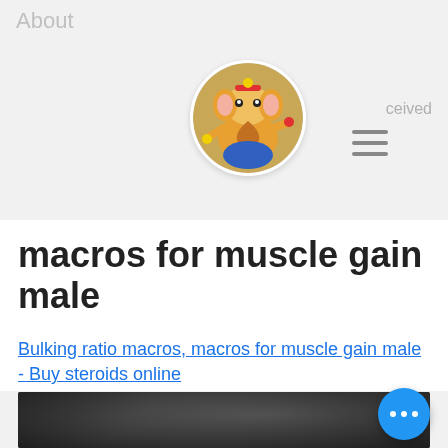About
ceived
[Figure (illustration): Circular avatar image of a colorful Ganesha painting with bright colors including red, yellow, and blue on a white circular background with white border]
[Figure (illustration): Hamburger menu icon with three horizontal lines]
macros for muscle gain male
Bulking ratio macros, macros for muscle gain male - Buy steroids online
[Figure (photo): Dark blurred photograph, appears to show a person or body, difficult to make out details due to blur]
[Figure (illustration): Blue circular floating action button with three white dots (ellipsis/more options icon)]